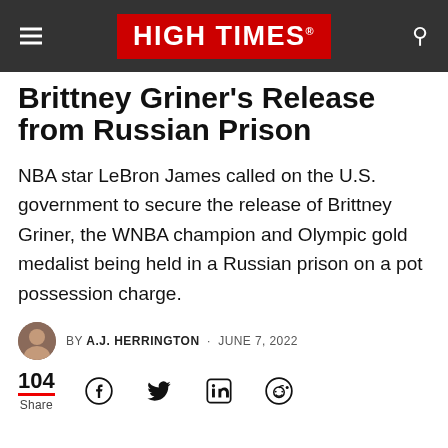HIGH TIMES
Brittney Griner's Release from Russian Prison
NBA star LeBron James called on the U.S. government to secure the release of Brittney Griner, the WNBA champion and Olympic gold medalist being held in a Russian prison on a pot possession charge.
BY A.J. HERRINGTON · JUNE 7, 2022
104 Share